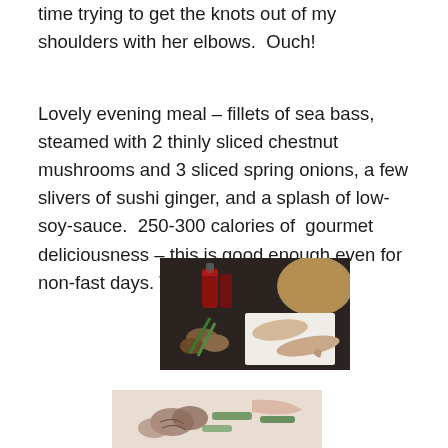time trying to get the knots out of my shoulders with her elbows.  Ouch!
Lovely evening meal – fillets of sea bass, steamed with 2 thinly sliced chestnut mushrooms and 3 sliced spring onions, a few slivers of sushi ginger, and a splash of low-soy-sauce.  250-300 calories of  gourmet deliciousness – this is good enough even for non-fast days. Wow!
[Figure (photo): Overhead view of sea bass fillets on white paper, chestnut mushrooms, spring onions, a bottle of soy sauce, and a bamboo steamer basket on a dark tray]
[Figure (photo): Close-up of sliced mushrooms and spring onions arranged on a white surface, prepared for steaming]